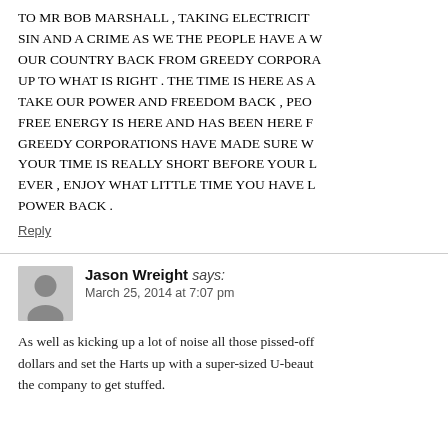TO MR BOB MARSHALL , TAKING ELECTRICITY SIN AND A CRIME AS WE THE PEOPLE HAVE A V OUR COUNTRY BACK FROM GREEDY CORPORA UP TO WHAT IS RIGHT . THE TIME IS HERE AS A TAKE OUR POWER AND FREEDOM BACK , PEO FREE ENERGY IS HERE AND HAS BEEN HERE F GREEDY CORPORATIONS HAVE MADE SURE W YOUR TIME IS REALLY SHORT BEFORE YOUR L EVER , ENJOY WHAT LITTLE TIME YOU HAVE L POWER BACK .
Reply
Jason Wreight says:
March 25, 2014 at 7:07 pm
As well as kicking up a lot of noise all those pissed-off dollars and set the Harts up with a super-sized U-beaut the company to get stuffed.